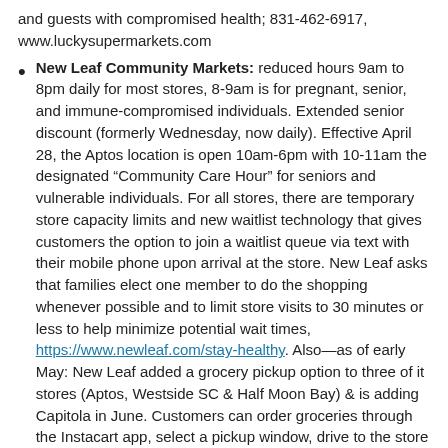and guests with compromised health; 831-462-6917, www.luckysupermarkets.com
New Leaf Community Markets: reduced hours 9am to 8pm daily for most stores, 8-9am is for pregnant, senior, and immune-compromised individuals. Extended senior discount (formerly Wednesday, now daily). Effective April 28, the Aptos location is open 10am-6pm with 10-11am the designated “Community Care Hour” for seniors and vulnerable individuals. For all stores, there are temporary store capacity limits and new waitlist technology that gives customers the option to join a waitlist queue via text with their mobile phone upon arrival at the store. New Leaf asks that families elect one member to do the shopping whenever possible and to limit store visits to 30 minutes or less to help minimize potential wait times, https://www.newleaf.com/stay-healthy. Also—as of early May: New Leaf added a grocery pickup option to three of it stores (Aptos, Westside SC & Half Moon Bay) & is adding Capitola in June. Customers can order groceries through the Instacart app, select a pickup window, drive to the store and have their groceries brought to their car. Save $10 on your first New Leaf grocery pickup or delivery order of $35 or more with code NEWLEAF2020 through June 30, 2020. Learn more at